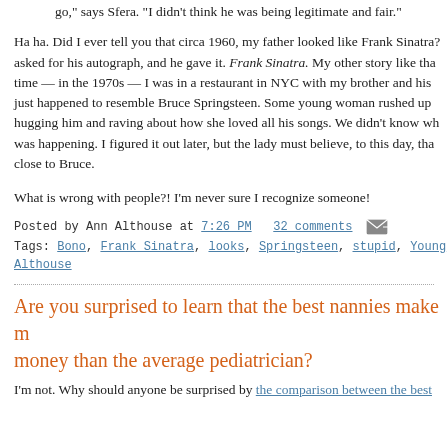That moment didn't come, and Sfera decided not to help his interlocutor go," says Sfera. "I didn't think he was being legitimate and fair."
Ha ha. Did I ever tell you that circa 1960, my father looked like Frank Sinatra? asked for his autograph, and he gave it. Frank Sinatra. My other story like that — time — in the 1970s — I was in a restaurant in NYC with my brother and his just happened to resemble Bruce Springsteen. Some young woman rushed up hugging him and raving about how she loved all his songs. We didn't know what was happening. I figured it out later, but the lady must believe, to this day, that close to Bruce.
What is wrong with people?! I'm never sure I recognize someone!
Posted by Ann Althouse at 7:26 PM   32 comments
Tags: Bono, Frank Sinatra, looks, Springsteen, stupid, Young Althouse
Are you surprised to learn that the best nannies make more money than the average pediatrician?
I'm not. Why should anyone be surprised by the comparison between the best